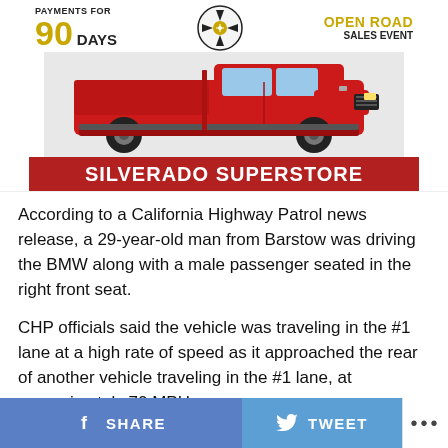[Figure (advertisement): Silverado Superstore car dealership advertisement showing a red Chevrolet Silverado pickup truck with text 'PAYMENTS FOR 90 DAYS', 'OPEN ROAD SALES EVENT', and 'SILVERADO SUPERSTORE' banner]
According to a California Highway Patrol news release, a 29-year-old man from Barstow was driving the BMW along with a male passenger seated in the right front seat.
CHP officials said the vehicle was traveling in the #1 lane at a high rate of speed as it approached the rear of another vehicle traveling in the #1 lane, at approximately 70 MPH.
SHARE   TWEET   ...